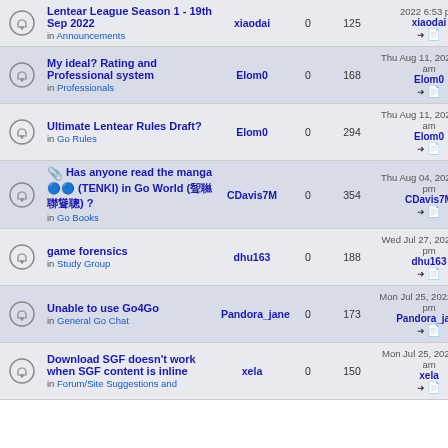|  | Topic | Author | Replies | Views | Last post |
| --- | --- | --- | --- | --- | --- |
|  | Lentear League Season 1 - 19th Sep 2022 in Announcements | xiaodai | 0 | 125 | 2022 6:53 pm xiaodai |
|  | My ideal? Rating and Professional system in Professionals | Elom0 | 0 | 168 | Thu Aug 11, 2022 6:59 am Elom0 |
|  | Ultimate Lentear Rules Draft? in Go Rules | Elom0 | 0 | 294 | Thu Aug 11, 2022 6:36 am Elom0 |
|  | Has anyone read the manga 🔵🔵 (TENKI) in Go World (聟聮聯聳聰) ? in Go Books | CDavis7M | 0 | 354 | Thu Aug 04, 2022 3:32 pm CDavis7M |
|  | game forensics in Study Group | dhu163 | 0 | 188 | Wed Jul 27, 2022 1:11 pm dhu163 |
|  | Unable to use Go4Go in General Go Chat | Pandora_jane | 0 | 173 | Mon Jul 25, 2022 12:18 pm Pandora_jane |
|  | Download SGF doesn't work when SGF content is inline in Forum/Site Suggestions and | xela | 0 | 150 | Mon Jul 25, 2022 4:48 am xela |